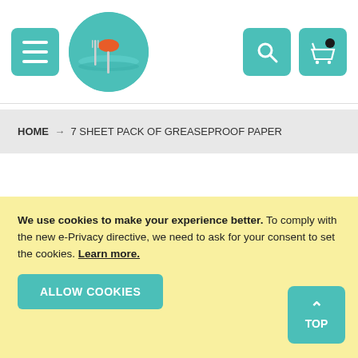[Figure (logo): Navigation header with menu button (hamburger icon), circular logo with spoon and fork on teal background, search icon button and shopping cart icon button on the right]
HOME → 7 SHEET PACK OF GREASEPROOF PAPER
We use cookies to make your experience better. To comply with the new e-Privacy directive, we need to ask for your consent to set the cookies. Learn more.
ALLOW COOKIES